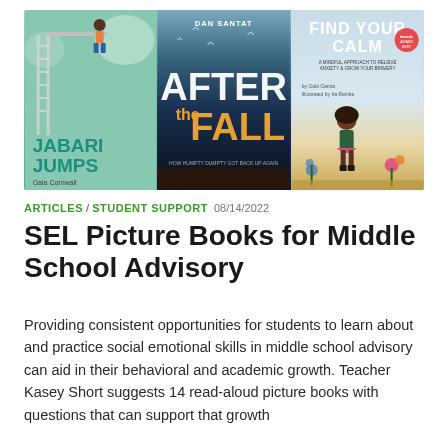[Figure (illustration): Three children's picture book covers side by side: 'Jabari Jumps' by Gaia Cornwall (teal/green cover showing a child at a diving board), 'After the Fall' by Dan Santat (dark atmospheric cover with large golden letters), and 'Find Your Calm' (light blue/sandy cover with a girl and flowers).]
ARTICLES / STUDENT SUPPORT  08/14/2022
SEL Picture Books for Middle School Advisory
Providing consistent opportunities for students to learn about and practice social emotional skills in middle school advisory can aid in their behavioral and academic growth. Teacher Kasey Short suggests 14 read-aloud picture books with questions that can support that growth